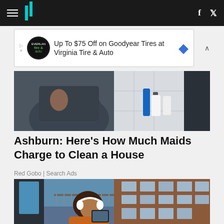HuffPost navigation with hamburger menu, logo, Facebook and Twitter icons
[Figure (screenshot): Advertisement banner: Up To $75 Off on Goodyear Tires at Virginia Tire & Auto]
[Figure (photo): Person in dark shirt wearing yellow rubber gloves, arms crossed, cleaning supplies in background]
Ashburn: Here's How Much Maids Charge to Clean a House
Red Gobo | Search Ads
[Figure (photo): Young woman with curly hair wearing white headphones and orange sweater, looking at tablet, brick building with windows in background]